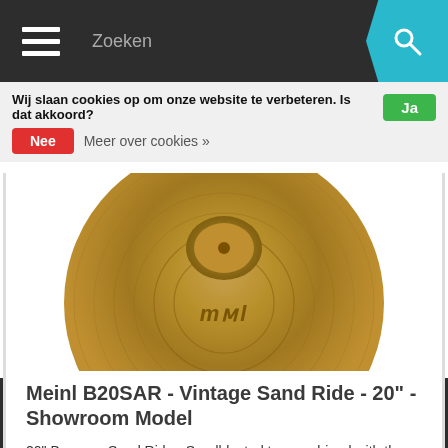Zoeken
Wij slaan cookies op om onze website te verbeteren. Is dat akkoord? Ja
Nee  Meer over cookies »
[Figure (photo): Gold/brass Meinl cymbal (Byzance Sand Ride 20") photographed from above, showing the top surface with the Meinl logo, partially cropped at the bottom of the image.]
Meinl B20SAR - Vintage Sand Ride - 20" - Showroom Model
20" Byzance Sand Ride - Sandblasted top combined with the partially lathed bottom produces an outstanding dry and fast stick sound with a very quick decay.
Vergelijk
(0) | €0,00